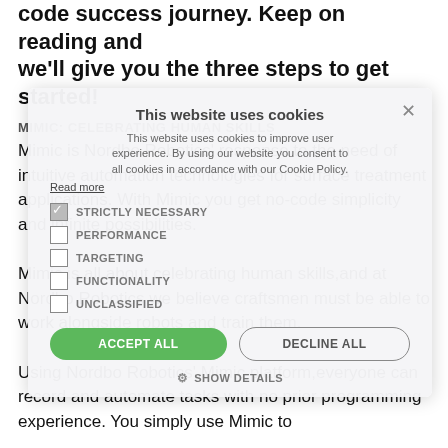code success journey. Keep on reading and we'll give you the three steps to get started!
[Figure (screenshot): Cookie consent popup overlay showing cookie categories (Strictly Necessary, Performance, Targeting, Functionality, Unclassified) with Accept All, Decline All, and Show Details buttons]
MIMIC: CELEBRATING HUMAN SKILLS
Mimic is Nordbo Robotics' response to the need of intuitive automation technologies for surface treatment applications. With Mimic you get no-code simplicity and infinite possibilities.

Mimic is all about celebrating human skills,and at Nordbo Robotics we believe craftsmen must be able to work alongside robots and train them.

Using Nordbo Robotics' Mimic platform,everyone can record and automate tasks with no prior programming experience. You simply use Mimic to